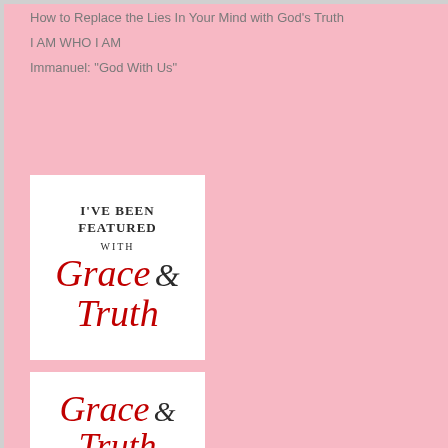How to Replace the Lies In Your Mind with God’s Truth
I AM WHO I AM
Immanuel: “God With Us”
[Figure (logo): I've Been Featured with Grace & Truth badge - white background with serif and script text]
[Figure (logo): Grace & Truth logo - white background with script red text]